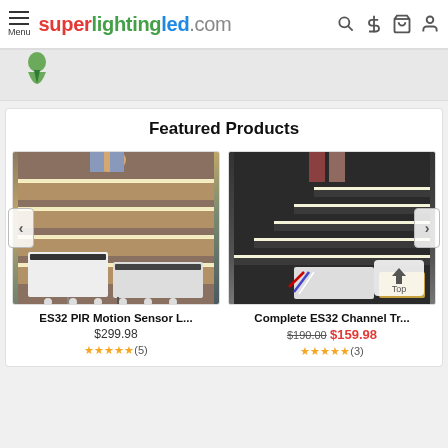superlightingled.com — Menu header with search, dollar, cart, account icons
[Figure (screenshot): Partial banner image showing feet on stairs with LED lighting and a decorative figure]
Featured Products
[Figure (photo): ES32 PIR Motion Sensor LED stair lighting kit product photo showing stairs with LED strips and control components]
ES32 PIR Motion Sensor L...
$299.98
★★★★★(5)
[Figure (photo): Complete ES32 Channel Tr... product photo showing dark stairs with LED strip lighting and components]
Complete ES32 Channel Tr...
$190.00 $159.98
★★★★★(3)